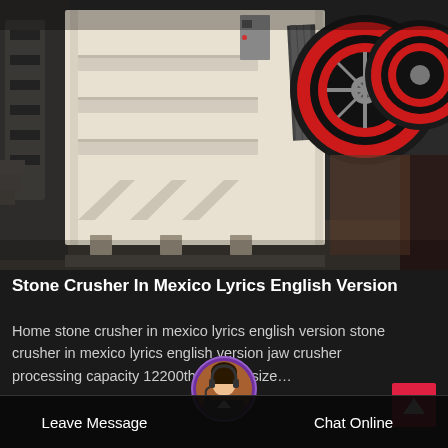[Figure (photo): Industrial jaw crusher / stone crusher machine with cream-colored metal body, large red-and-black flywheel on the right side and belt drive mechanism, photographed in a factory/warehouse setting with dark machinery in the background.]
Stone Crusher In Mexico Lyrics English Version
Home stone crusher in mexico lyrics english version stone crusher in mexico lyrics english version jaw crusher processing capacity 12200th feeding size…
Leave Message   Chat Online